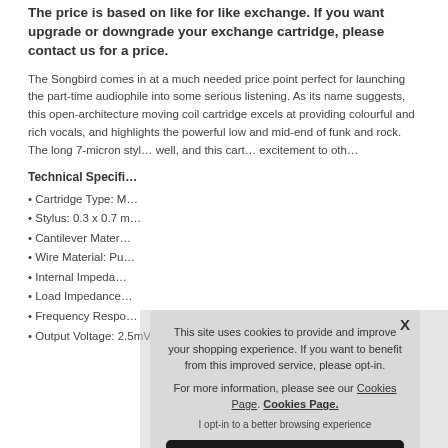The price is based on like for like exchange. If you want upgrade or downgrade your exchange cartridge, please contact us for a price.
The Songbird comes in at a much needed price point perfect for launching the part-time audiophile into some serious listening. As its name suggests, this open-architecture moving coil cartridge excels at providing colourful and rich vocals, and highlights the powerful low and mid-end of funk and rock. The long 7-micron styl… well, and this cart… excitement to oth…
Technical Specifi…
• Cartridge Type: M…
• Stylus: 0.3 x 0.7 m…
• Cantilever Mater…
• Wire Material: Pu…
• Internal Impeda…
• Load Impedance…
• Frequency Respo…
• Output Voltage: 2.5mV
[Figure (screenshot): Cookie consent overlay with text: 'This site uses cookies to provide and improve your shopping experience. If you want to benefit from this improved service, please opt-in. For more information, please see our Cookies Page. Cookies Page.' with an 'I opt-in to a better browsing experience' link and an ACCEPT COOKIES button.]